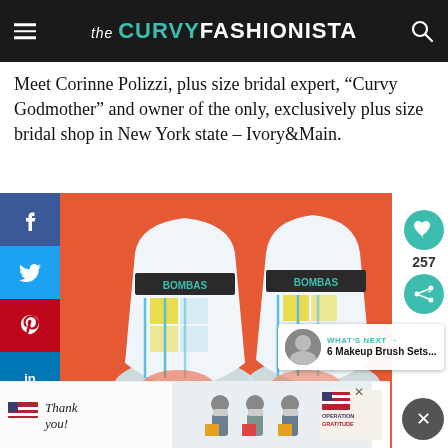the CURVY FASHIONISTA
Meet Corinne Polizzi, plus size bridal expert, “Curvy Godmother” and owner of the only, exclusively plus size bridal shop in New York state – Ivory&Main.
[Figure (photo): Two Bombas socks shown toe-up on an orange background, displaying colorful blue, yellow and white pattern]
[Figure (photo): Advertisement banner: Operation Gratitude thank you campaign with masked healthcare workers]